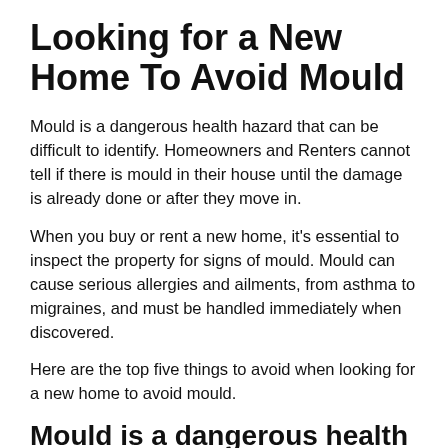Looking for a New Home To Avoid Mould
Mould is a dangerous health hazard that can be difficult to identify. Homeowners and Renters cannot tell if there is mould in their house until the damage is already done or after they move in.
When you buy or rent a new home, it's essential to inspect the property for signs of mould. Mould can cause serious allergies and ailments, from asthma to migraines, and must be handled immediately when discovered.
Here are the top five things to avoid when looking for a new home to avoid mould.
Mould is a dangerous health hazard
Mould is a dangerous health hazard that can lead to serious diseases. It's difficult to identify because it may look like a stain.